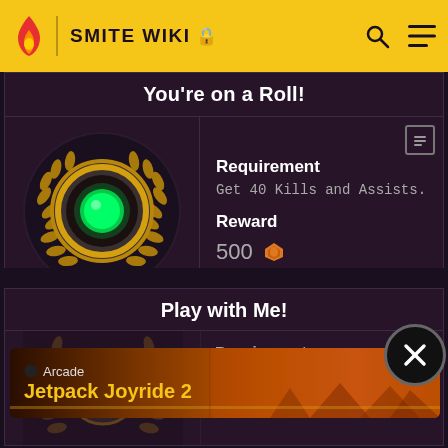SMITE WIKI
You're on a Roll!
[Figure (illustration): Green glowing medal/badge with golden laurel wreath border on dark background]
Requirement
Get 40 Kills and Assists.
Reward
500 [favor icon]
Play with Me!
Requirement
500
[Figure (screenshot): Apple Arcade advertisement banner showing Jetpack Joyride 2 game with fiery orange background]
[Figure (illustration): Close button circle with X]